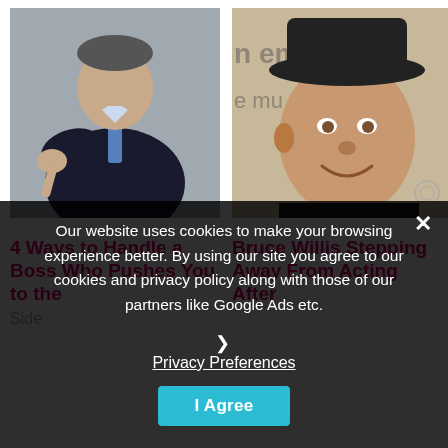[Figure (photo): Man in suit giving thumbs down gesture against gray background]
[Figure (photo): Bruce Willis smiling wearing black hat at an event, partial text background visible]
4 Ways to Handle a Boss Who Pushes You to the Side
Bruce Willis Stepping Away From Acting After
Our website uses cookies to make your browsing experience better. By using our site you agree to our cookies and privacy policy along with those of our partners like Google Ads etc.
› Privacy Preferences
I Agree